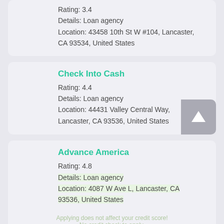Rating: 3.4
Details: Loan agency
Location: 43458 10th St W #104, Lancaster, CA 93534, United States
Check Into Cash
Rating: 4.4
Details: Loan agency
Location: 44431 Valley Central Way, Lancaster, CA 93536, United States
Advance America
Rating: 4.8
Details: Loan agency
Location: 4087 W Ave L, Lancaster, CA 93536, United States
Applying does not affect your credit score! No credit check to apply.